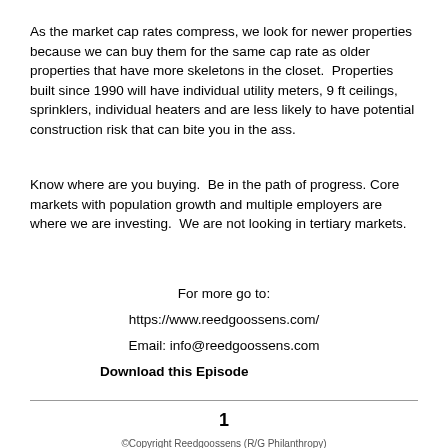As the market cap rates compress, we look for newer properties because we can buy them for the same cap rate as older properties that have more skeletons in the closet.  Properties built since 1990 will have individual utility meters, 9 ft ceilings, sprinklers, individual heaters and are less likely to have potential construction risk that can bite you in the ass.
Know where are you buying.  Be in the path of progress. Core markets with population growth and multiple employers are where we are investing.  We are not looking in tertiary markets.
For more go to:
https://www.reedgoossens.com/
Email: info@reedgoossens.com
Download this Episode
1
©Copyright Reedgoossens (R/G Philanthropy)